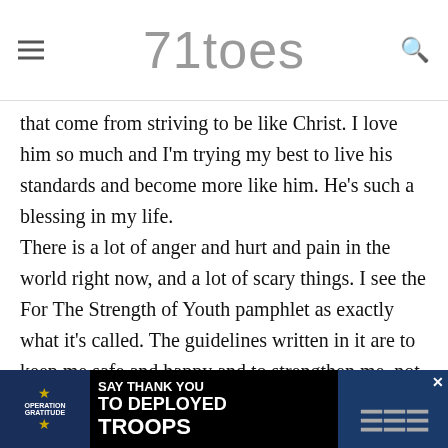71toes
that come from striving to be like Christ. I love him so much and I'm trying my best to live his standards and become more like him. He's such a blessing in my life.
There is a lot of anger and hurt and pain in the world right now, and a lot of scary things. I see the For The Strength of Youth pamphlet as exactly what it's called. The guidelines written in it are to keep me safe and happy and to strengthen me, not restrict me or make me miserable. I choose to follow what's in that pamphlet not because I'm forced to (although I'm very grateful for the influence of righteous people who encourage me to) but because I believe that they are divinely inspired. The For The Strength of Youth book is filled with a lot of do's and do...
[Figure (other): Operation Gratitude advertisement banner: SAY THANK YOU TO DEPLOYED TROOPS]